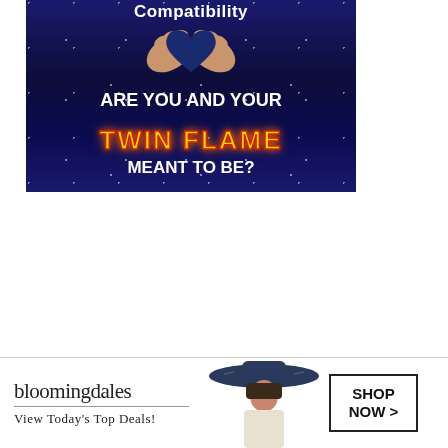[Figure (illustration): Advertisement banner with dark blue galaxy/space background, hands forming a heart shape, text reading 'Compatibility - ARE YOU AND YOUR TWIN FLAME MEANT TO BE?' with TWIN FLAME in fiery yellow-orange letters]
[Figure (illustration): Bloomingdales advertisement banner showing the Bloomingdales logo, tagline 'View Today's Top Deals!', a fashion model wearing a wide-brim hat, and a 'SHOP NOW >' button]